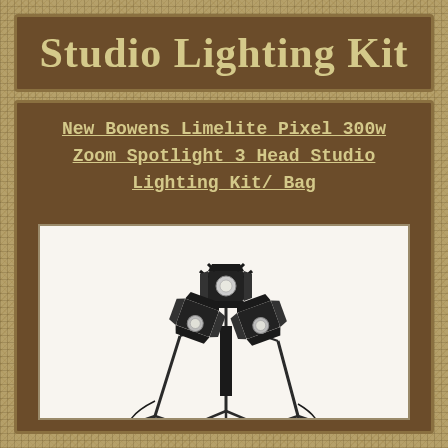Studio Lighting Kit
New Bowens Limelite Pixel 300w Zoom Spotlight 3 Head Studio Lighting Kit/ Bag
[Figure (photo): Three studio spotlight heads on tripod stands arranged in a triangular formation, center head elevated higher, all with barn doors, on a white background]